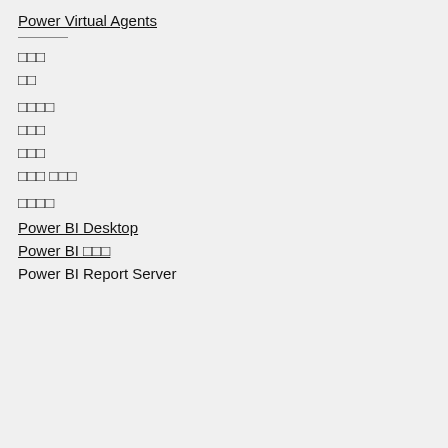Power Virtual Agents
□□□
□□
□□□□
□□□
□□□
□□□ □□□
□□□□
Power BI Desktop
Power BI □□□
Power BI Report Server